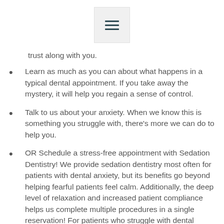[Figure (other): Hamburger menu icon (three horizontal lines) in a light grey rounded rectangle]
trust along with you.
Learn as much as you can about what happens in a typical dental appointment. If you take away the mystery, it will help you regain a sense of control.
Talk to us about your anxiety. When we know this is something you struggle with, there's more we can do to help you.
OR Schedule a stress-free appointment with Sedation Dentistry! We provide sedation dentistry most often for patients with dental anxiety, but its benefits go beyond helping fearful patients feel calm. Additionally, the deep level of relaxation and increased patient compliance helps us complete multiple procedures in a single reservation! For patients who struggle with dental anxiety, we offer a comprehensive selection of sedation